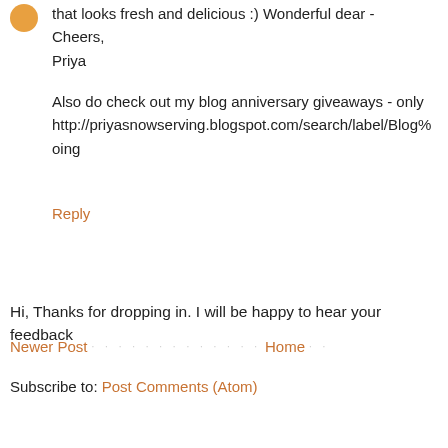that looks fresh and delicious :) Wonderful dear - Cheers, Priya
Also do check out my blog anniversary giveaways - only http://priyasnowserving.blogspot.com/search/label/Blog%oing
Reply
Hi, Thanks for dropping in. I will be happy to hear your feedback
Newer Post · · · · · · · · · · · · · Home · ·
Subscribe to: Post Comments (Atom)